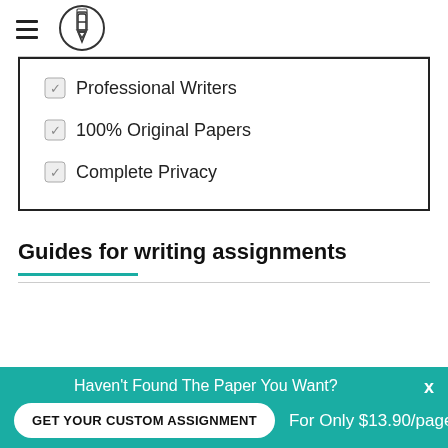Professional Writers
100% Original Papers
Complete Privacy
Guides for writing assignments
Haven't Found The Paper You Want?
GET YOUR CUSTOM ASSIGNMENT
For Only $13.90/page